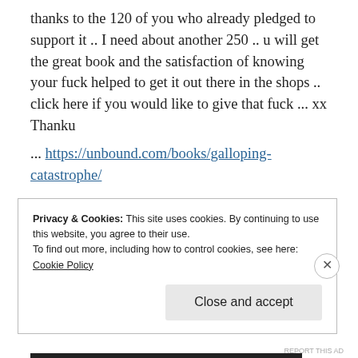thanks to the 120 of you who already pledged to support it .. I need about another 250 .. u will get the great book and the satisfaction of knowing your fuck helped to get it out there in the shops .. click here if you would like to give that fuck ... xx Thanku
... https://unbound.com/books/galloping-catastrophe/
xx
Privacy & Cookies: This site uses cookies. By continuing to use this website, you agree to their use.
To find out more, including how to control cookies, see here:
Cookie Policy
Close and accept